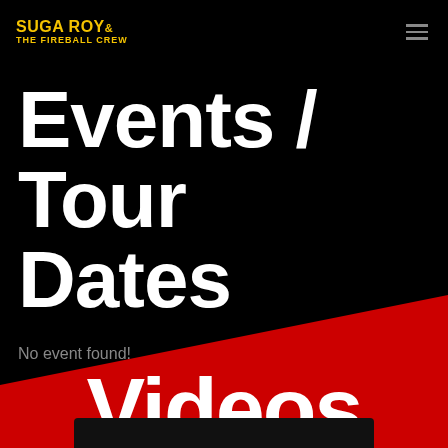SUGA ROY & THE FIREBALL CREW
Events / Tour Dates
No event found!
Videos
[Figure (screenshot): Video thumbnail partially visible at bottom of page]